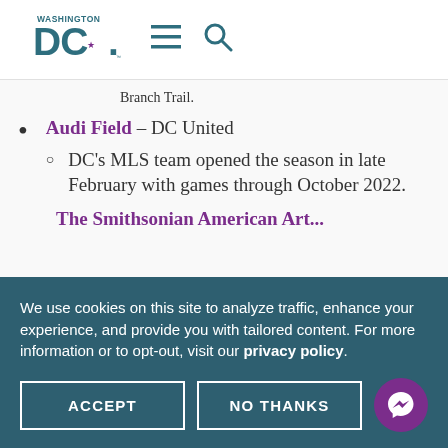[Figure (logo): Washington DC tourism logo with teal DC letters and star, plus hamburger menu and search icons]
Branch Trail.
Audi Field – DC United
DC's MLS team opened the season in late February with games through October 2022.
The Smithsonian American Art... (partially visible)
We use cookies on this site to analyze traffic, enhance your experience, and provide you with tailored content. For more information or to opt-out, visit our privacy policy.
ACCEPT
NO THANKS